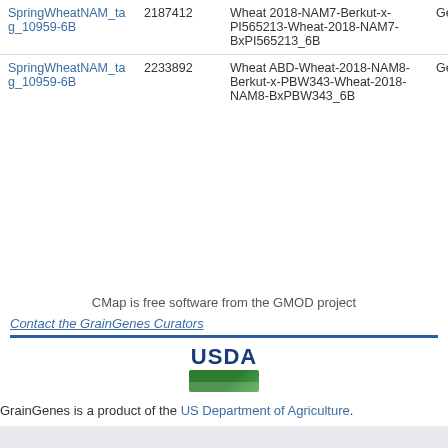| Feature | Position | Map | Type |
| --- | --- | --- | --- |
| SpringWheatNAM_tag_10959-6B | 2187412 | Wheat 2018-NAM7-Berkut-x-PI565213-Wheat-2018-NAM7-BxPI565213_6B | Gene |
| SpringWheatNAM_tag_10959-6B | 2233892 | Wheat ABD-Wheat-2018-NAM8-Berkut-x-PBW343-Wheat-2018-NAM8-BxPBW343_6B | Gene |
CMap is free software from the GMOD project
Contact the GrainGenes Curators
[Figure (logo): USDA logo with green landscape bar]
GrainGenes is a product of the US Department of Agriculture.